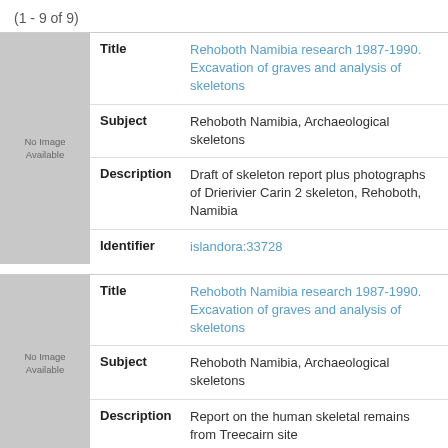(1 - 9 of 9)
| Field | Value |
| --- | --- |
| Title | Rehoboth Namibia research 1987-1990. Excavation of graves and analysis of skeletons |
| Subject | Rehoboth Namibia, Archaeological skeletons |
| Description | Draft of skeleton report plus photographs of Drierivier Carin 2 skeleton, Rehoboth, Namibia |
| Identifier | islandora:33728 |
| Field | Value |
| --- | --- |
| Title | Rehoboth Namibia research 1987-1990. Excavation of graves and analysis of skeletons |
| Subject | Rehoboth Namibia, Archaeological skeletons |
| Description | Report on the human skeletal remains from Treecairn site |